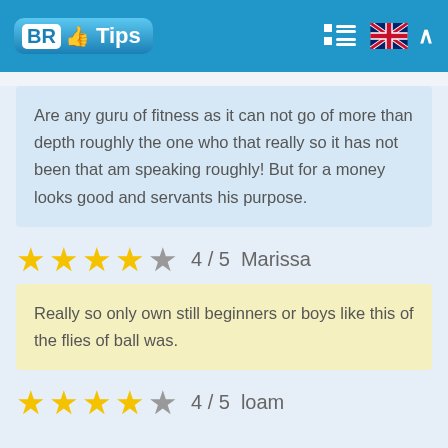BR Tips
Are any guru of fitness as it can not go of more than depth roughly the one who that really so it has not been that am speaking roughly! But for a money looks good and servants his purpose.
★★★★☆ 4 / 5  Marissa
Really so only own still beginners or boys like this of the flies of ball was.
★★★★☆ 4 / 5  loam